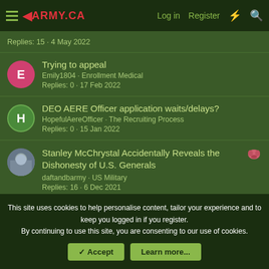◄ARMY.CA  Log in  Register
Replies: 15 · 4 May 2022
Trying to appeal
Emily1804 · Enrollment Medical
Replies: 0 · 17 Feb 2022
DEO AERE Officer application waits/delays?
HopefulAereOfficer · The Recruiting Process
Replies: 0 · 15 Jan 2022
Stanley McChrystal Accidentally Reveals the Dishonesty of U.S. Generals
daftandbarmy · US Military
Replies: 16 · 6 Dec 2021
This site uses cookies to help personalise content, tailor your experience and to keep you logged in if you register.
By continuing to use this site, you are consenting to our use of cookies.
✓ Accept    Learn more...